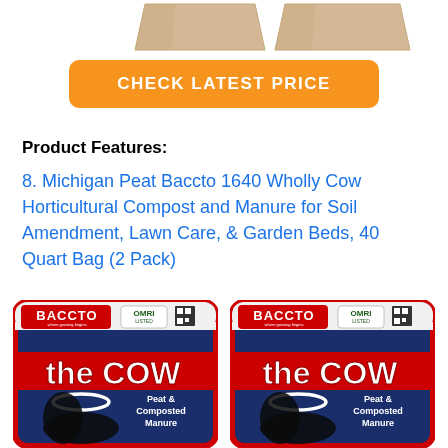[Figure (photo): Two cardboard box shapes partially visible at the top of the page]
CHECK LATEST PRICE
Product Features:
8. Michigan Peat Baccto 1640 Wholly Cow Horticultural Compost and Manure for Soil Amendment, Lawn Care, & Garden Beds, 40 Quart Bag (2 Pack)
[Figure (photo): Two Baccto 'the COW' Peat & Composted Manure bags side by side, each with OMRI label and QR code]